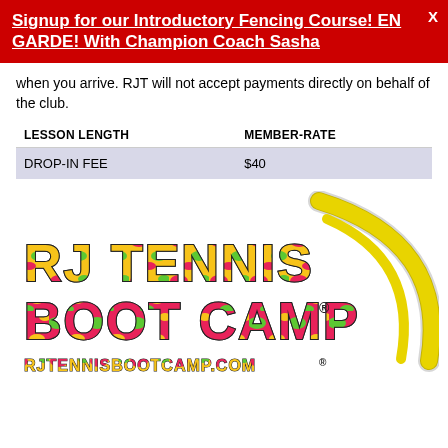Signup for our Introductory Fencing Course! EN GARDE! With Champion Coach Sasha
when you arrive. RJT will not accept payments directly on behalf of the club.
| LESSON LENGTH | MEMBER-RATE |
| --- | --- |
| DROP-IN FEE | $40 |
[Figure (logo): RJ Tennis Boot Camp logo with colorful stylized text and yellow tennis ball arc. Website: RJTENNISBOOTCAMP.COM]